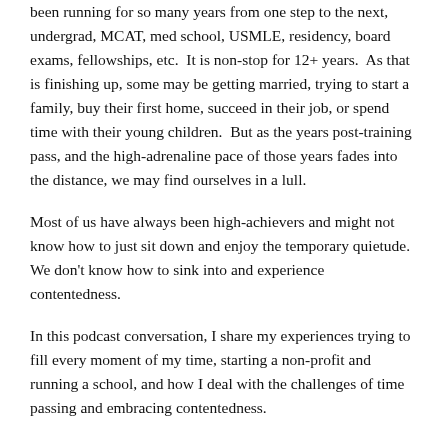been running for so many years from one step to the next, undergrad, MCAT, med school, USMLE, residency, board exams, fellowships, etc.  It is non-stop for 12+ years.  As that is finishing up, some may be getting married, trying to start a family, buy their first home, succeed in their job, or spend time with their young children.  But as the years post-training pass, and the high-adrenaline pace of those years fades into the distance, we may find ourselves in a lull.
Most of us have always been high-achievers and might not know how to just sit down and enjoy the temporary quietude. We don't know how to sink into and experience contentedness.
In this podcast conversation, I share my experiences trying to fill every moment of my time, starting a non-profit and running a school, and how I deal with the challenges of time passing and embracing contentedness.